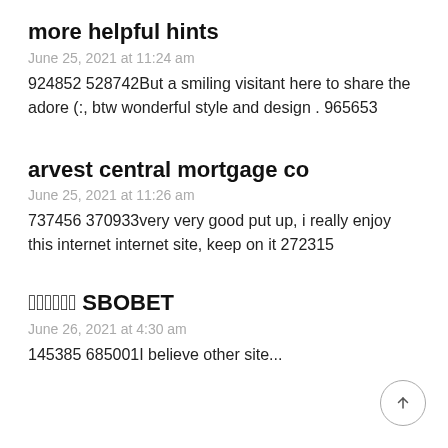more helpful hints
June 25, 2021 at 11:24 am
924852 528742But a smiling visitant here to share the adore (:, btw wonderful style and design . 965653
arvest central mortgage co
June 25, 2021 at 11:26 am
737456 370933very very good put up, i really enjoy this internet internet site, keep on it 272315
สมัคร SBOBET
June 26, 2021 at 4:30 am
145385 685001I believe other site...